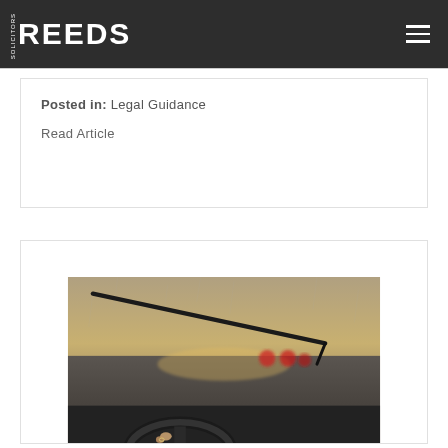REEDS SOLICITORS
Posted in: Legal Guidance
Read Article
[Figure (photo): A photo of a person driving a car in the rain, seen from inside the vehicle, showing a steering wheel, windshield wiper, and red taillights of a car ahead in blurry rainy conditions.]